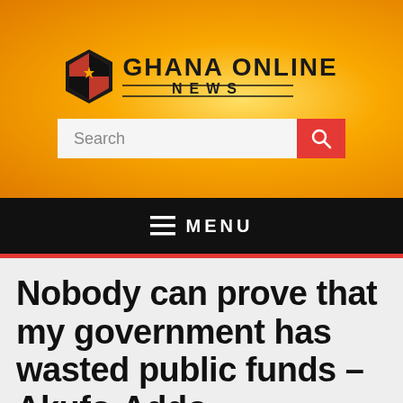[Figure (logo): Ghana Online News logo with hexagonal red/black/gold icon and bold text 'GHANA ONLINE NEWS' on an orange gradient background with a search bar]
≡  MENU
Nobody can prove that my government has wasted public funds – Akufo-Addo